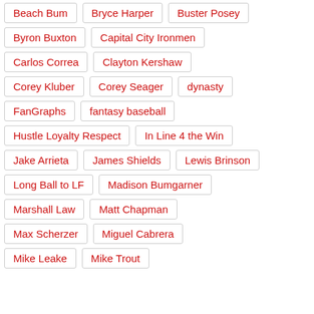Beach Bum
Bryce Harper
Buster Posey
Byron Buxton
Capital City Ironmen
Carlos Correa
Clayton Kershaw
Corey Kluber
Corey Seager
dynasty
FanGraphs
fantasy baseball
Hustle Loyalty Respect
In Line 4 the Win
Jake Arrieta
James Shields
Lewis Brinson
Long Ball to LF
Madison Bumgarner
Marshall Law
Matt Chapman
Max Scherzer
Miguel Cabrera
Mike Leake
Mike Trout